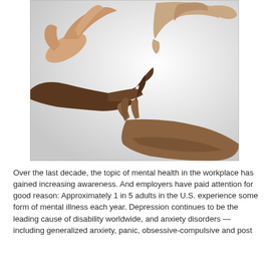[Figure (photo): Multiple hands of different skin tones forming a circular shape together against a light gray gradient background, symbolizing unity and support in mental health.]
Over the last decade, the topic of mental health in the workplace has gained increasing awareness. And employers have paid attention for good reason: Approximately 1 in 5 adults in the U.S. experience some form of mental illness each year. Depression continues to be the leading cause of disability worldwide, and anxiety disorders — including generalized anxiety, panic, obsessive-compulsive and post